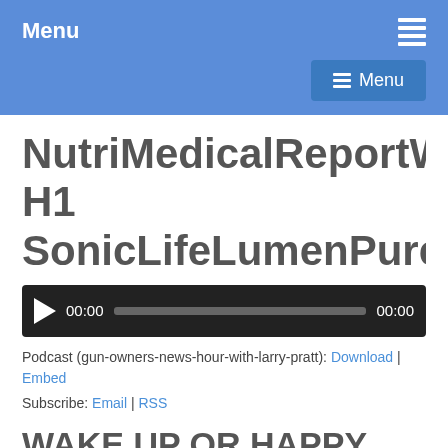Menu
NutriMedicalReportW H1 SonicLifeLumenPure
[Figure (other): Audio player with play button, time display 00:00, progress bar, and end time 00:00]
Podcast (gun-owners-news-hour-with-larry-pratt): Download | Embed
Subscribe: Email | RSS
WAKE UP OR HAPPY CAHONES DAY, BIDEN UN Meeting, Forced